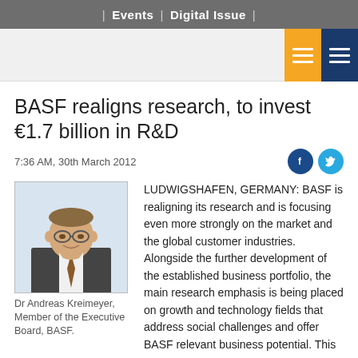| Events | Digital Issue |
[Figure (other): Navigation header bar with orange and blue hamburger menu icons on right side]
BASF realigns research, to invest €1.7 billion in R&D
7:36 AM, 30th March 2012
[Figure (photo): Portrait photo of Dr Andreas Kreimeyer, Member of the Executive Board, BASF, a man in a suit smiling]
Dr Andreas Kreimeyer, Member of the Executive Board, BASF.
LUDWIGSHAFEN, GERMANY: BASF is realigning its research and is focusing even more strongly on the market and the global customer industries. Alongside the further development of the established business portfolio, the main research emphasis is being placed on growth and technology fields that address social challenges and offer BASF relevant business potential. This new